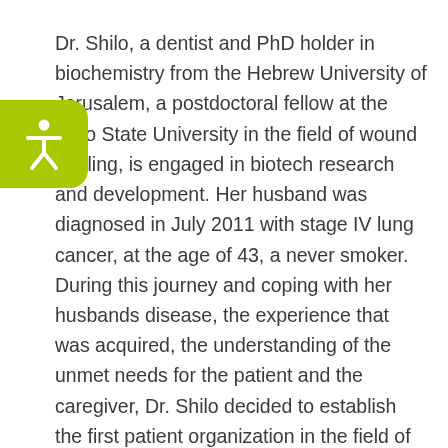Dr. Shilo, a dentist and PhD holder in biochemistry from the Hebrew University of Jerusalem, a postdoctoral fellow at the Ohio State University in the field of wound healing, is engaged in biotech research and development. Her husband was diagnosed in July 2011 with stage IV lung cancer, at the age of 43, a never smoker. During this journey and coping with her husbands disease, the experience that was acquired, the understanding of the unmet needs for the patient and the caregiver, Dr. Shilo decided to establish the first patient organization in the field of lung cancer in Israel. Shani and her husband have two children who were 9 and 6 years old at the time of diagnosis.